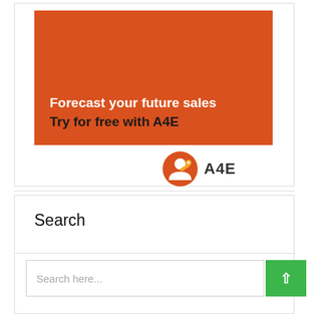[Figure (infographic): Orange banner advertisement with text 'Forecast your future sales / Try for free with A4E' and A4E logo below]
Search
Search here...